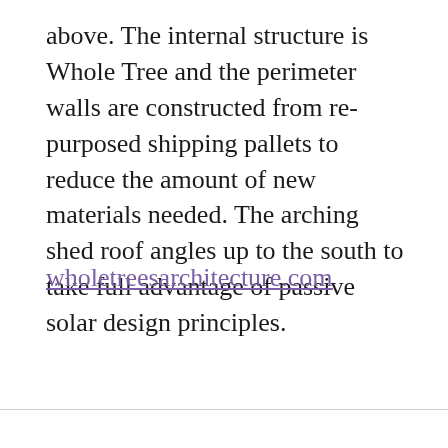above. The internal structure is Whole Tree and the perimeter walls are constructed from repurposed shipping pallets to reduce the amount of new materials needed. The arching shed roof angles up to the south to take full advantage of passive solar design principles.
wholetreesarchitecture.com